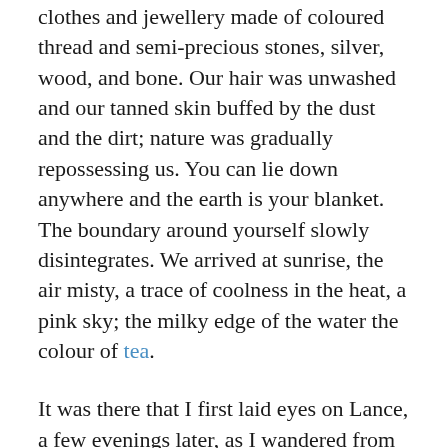clothes and jewellery made of coloured thread and semi-precious stones, silver, wood, and bone. Our hair was unwashed and our tanned skin buffed by the dust and the dirt; nature was gradually repossessing us. You can lie down anywhere and the earth is your blanket. The boundary around yourself slowly disintegrates. We arrived at sunrise, the air misty, a trace of coolness in the heat, a pink sky; the milky edge of the water the colour of tea.
It was there that I first laid eyes on Lance, a few evenings later, as I wandered from one campfire to another, stepping into the halo of yet another small, human grouping: the conversations, the music, the preposterous lines of dialogue. She's